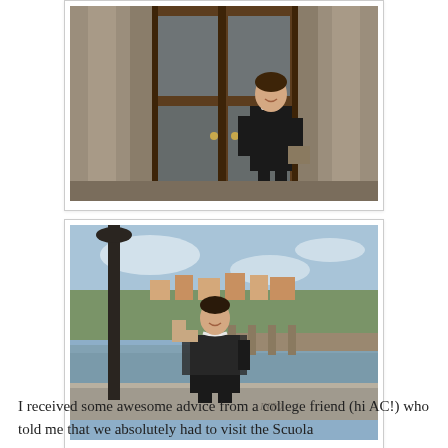[Figure (photo): A woman in a black dress with a white necklace and small bag standing in front of a large ornate wooden door with stone columns on either side of a classical building]
[Figure (photo): A woman in a black outfit with a pearl necklace standing by a stone railing with a lamp post behind her, and a river with a bridge and hillside town visible in the background. The word INTO is carved into the stone.]
I received some awesome advice from a college friend (hi AC!) who told me that we absolutely had to visit the Scuola